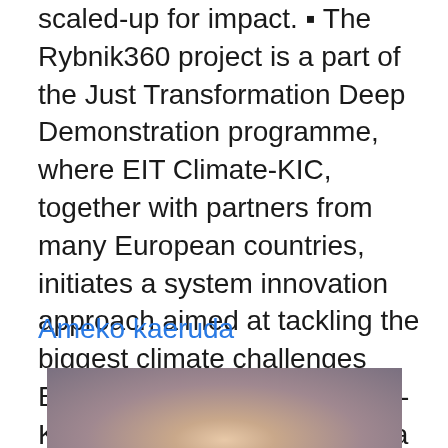scaled-up for impact. ▪ The Rybnik360 project is a part of the Just Transformation Deep Demonstration programme, where EIT Climate-KIC, together with partners from many European countries, initiates a system innovation approach aimed at tackling the biggest climate challenges Europe is facing. EIT Climate-KIC is supported by the EIT, a body of the European Union At EIT InnoEnergy, sustainability is about more than lowering emissions.
Ameko kaeruda
[Figure (photo): A photograph with a warm gradient sky, showing pinkish-orange tones at the center bottom fading to grey-purple at the edges and top, suggesting a hazy or smoky atmosphere.]